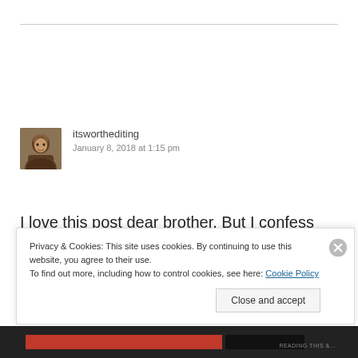itsworthediting
January 8, 2018 at 1:15 pm
I love this post dear brother. But I confess that it took me a long time to begin to understand this
Privacy & Cookies: This site uses cookies. By continuing to use this website, you agree to their use.
To find out more, including how to control cookies, see here: Cookie Policy
Close and accept